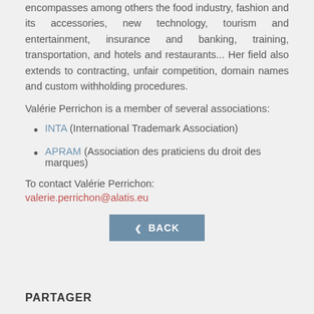encompasses among others the food industry, fashion and its accessories, new technology, tourism and entertainment, insurance and banking, training, transportation, and hotels and restaurants... Her field also extends to contracting, unfair competition, domain names and custom withholding procedures.
Valérie Perrichon is a member of several associations:
INTA (International Trademark Association)
APRAM (Association des praticiens du droit des marques)
To contact Valérie Perrichon:
valerie.perrichon@alatis.eu
< BACK
PARTAGER